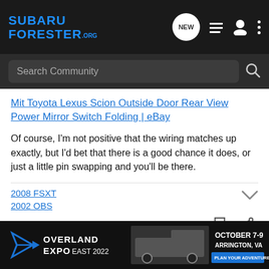SUBARU FORESTER.ORG
Search Community
Mit Toyota Lexus Scion Outside Door Rear View Power Mirror Switch Folding | eBay
Of course, I'm not positive that the wiring matches up exactly, but I'd bet that there is a good chance it does, or just a little pin swapping and you'll be there.
2008 FSXT
2002 OBS
[Figure (infographic): Overland Expo East 2022 advertisement banner: October 7-9, Arrington, VA, Plan Your Adventure button, with logo and truck imagery]